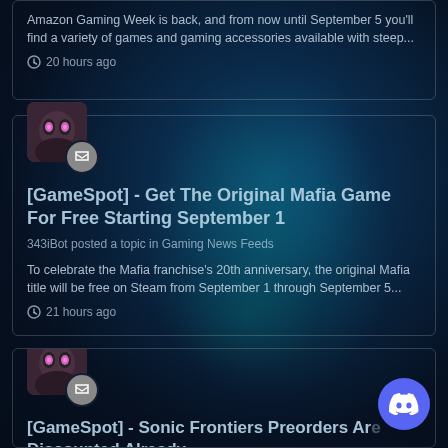Amazon Gaming Week is back, and from now until September 5 you'll find a variety of games and gaming accessories available with steep...
20 hours ago
[Figure (illustration): User avatar with robot/character icon and comment badge overlay]
[GameSpot] - Get The Original Mafia Game For Free Starting September 1
343iBot posted a topic in Gaming News Feeds
To celebrate the Mafia franchise's 20th anniversary, the original Mafia title will be free on Steam from September 1 through September 5...
21 hours ago
[Figure (illustration): User avatar with robot/character icon and comment badge overlay]
[GameSpot] - Sonic Frontiers Preorders Are Discounted Already
[Figure (logo): Discord logo button (purple circle with white Discord icon)]